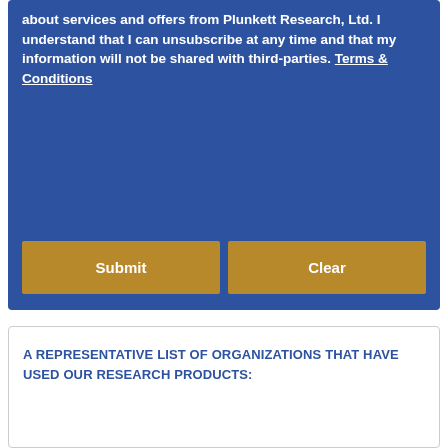about services and offers from Plunkett Research, Ltd. I understand that I can unsubscribe at any time and that my information will not be shared with third-parties. Terms & Conditions
[Figure (other): Submit and Clear buttons on blue background]
A REPRESENTATIVE LIST OF ORGANIZATIONS THAT HAVE USED OUR RESEARCH PRODUCTS: